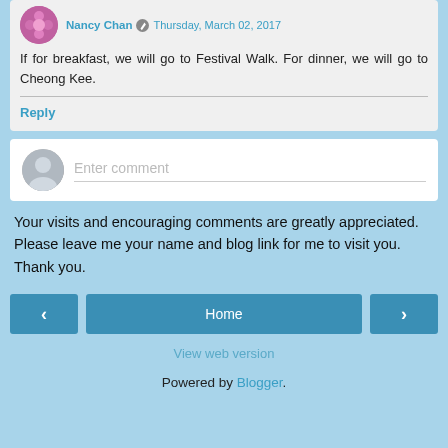Nancy Chan · Thursday, March 02, 2017 — If for breakfast, we will go to Festival Walk. For dinner, we will go to Cheong Kee.
Reply
Enter comment
Your visits and encouraging comments are greatly appreciated. Please leave me your name and blog link for me to visit you. Thank you.
Home
View web version
Powered by Blogger.